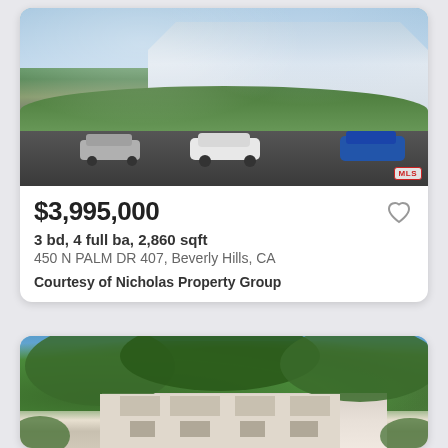[Figure (photo): Exterior photo of a modern multi-story condominium building with cars parked in front, lush greenery and trees visible, blue sky above.]
$3,995,000
3 bd, 4 full ba, 2,860 sqft
450 N PALM DR 407, Beverly Hills, CA
Courtesy of Nicholas Property Group
[Figure (photo): Exterior photo of a multi-story residential building partially obscured by large trees, white/cream facade visible.]